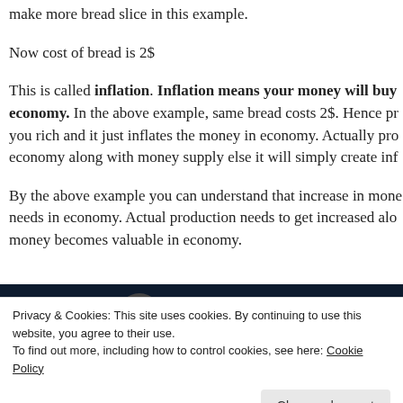make more bread slice in this example.
Now cost of bread is 2$
This is called inflation. Inflation means your money will buy economy. In the above example, same bread costs 2$. Hence pr you rich and it just inflates the money in economy. Actually pro economy along with money supply else it will simply create inf
By the above example you can understand that increase in mone needs in economy. Actual production needs to get increased alo money becomes valuable in economy.
[Figure (screenshot): Dark navy screenshot strip with WordPress logo and dot navigation indicators]
Privacy & Cookies: This site uses cookies. By continuing to use this website, you agree to their use.
To find out more, including how to control cookies, see here: Cookie Policy
Close and accept